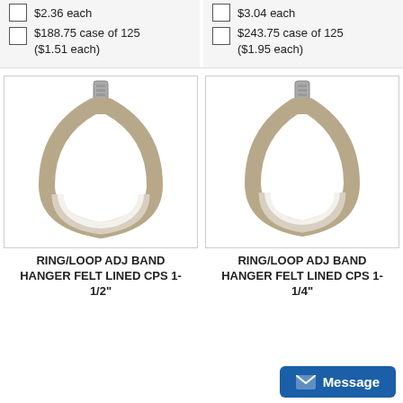$2.36 each
$188.75 case of 125 ($1.51 each)
$3.04 each
$243.75 case of 125 ($1.95 each)
[Figure (photo): Ring/Loop adjustable band hanger with felt lining, size 1-1/2 inch]
[Figure (photo): Ring/Loop adjustable band hanger with felt lining, size 1-1/4 inch]
RING/LOOP ADJ BAND HANGER FELT LINED CPS 1-1/2"
RING/LOOP ADJ BAND HANGER FELT LINED CPS 1-1/4"